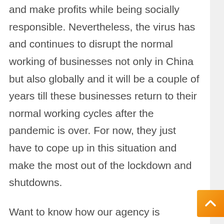and make profits while being socially responsible. Nevertheless, the virus has and continues to disrupt the normal working of businesses not only in China but also globally and it will be a couple of years till these businesses return to their normal working cycles after the pandemic is over. For now, they just have to cope up in this situation and make the most out of the lockdown and shutdowns.
Want to know how our agency is delivering expert services in this pandemic? Register now and avail our professional Chinese translation services today.